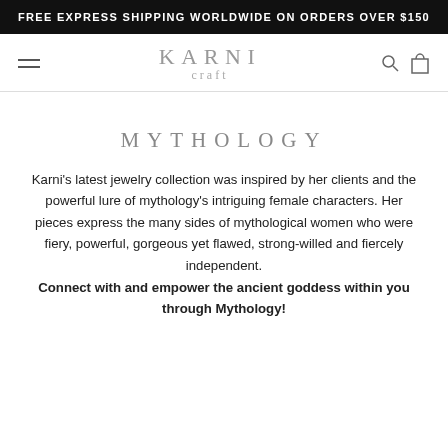FREE EXPRESS SHIPPING WORLDWIDE ON ORDERS OVER $150
[Figure (logo): KARNI craft logo with hamburger menu, search icon, and bag icon navigation bar]
MYTHOLOGY
Karni's latest jewelry collection was inspired by her clients and the powerful lure of mythology's intriguing female characters. Her pieces express the many sides of mythological women who were fiery, powerful, gorgeous yet flawed, strong-willed and fiercely independent. Connect with and empower the ancient goddess within you through Mythology!